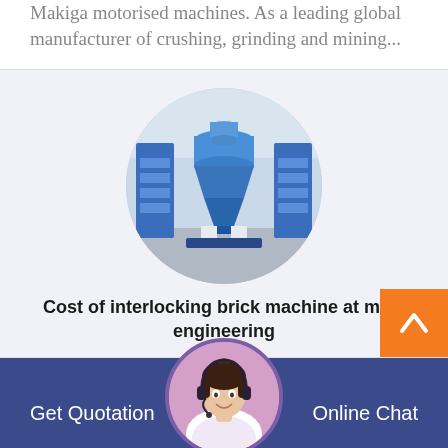Makiga motorised machines. As a leading global manufacturer of crushing, grinding and mining...
[Figure (photo): Circular cropped photo of a large blue industrial crushing/grinding machine in a factory setting]
Cost of interlocking brick machine at maki engineering
[Figure (photo): Circular avatar photo of a woman wearing a headset, used as a chat/quotation support widget]
Get Quotation
Online Chat